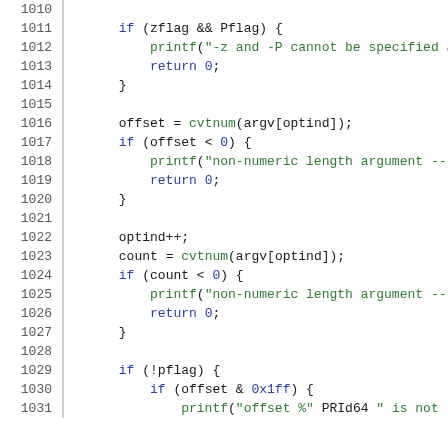[Figure (screenshot): Source code listing showing C code lines 1010-1031 with syntax highlighting. Line numbers in grey on left, keywords in blue, function calls and strings in green, variables in dark.]